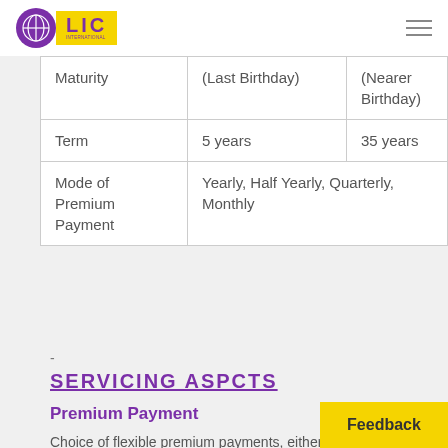LIC International
|  |  |  |
| --- | --- | --- |
| Maturity | (Last Birthday) | (Nearer Birthday) |
| Term | 5 years | 35 years |
| Mode of Premium Payment | Yearly, Half Yearly, Quarterly, Monthly |  |
-
SERVICING ASPCTS
Premium Payment
Choice of flexible premium payments, either throughout the term of the poli…